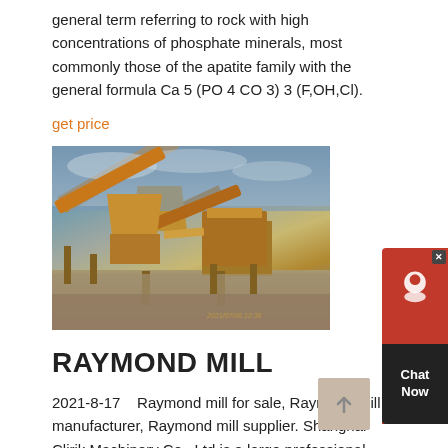general term referring to rock with high concentrations of phosphate minerals, most commonly those of the apatite family with the general formula Ca 5 (PO 4 CO 3) 3 (F,OH,Cl).
get price
[Figure (photo): Industrial mining/crushing machinery with conveyor belts and hoppers at a quarry site, orange-colored equipment]
RAYMOND MILL
2021-8-17    Raymond mill for sale, Raymond mill manufacturer, Raymond mill supplier. Shanghai Clirik Machinery Co., Ltd is a large professional manufacturer of Raymond mill,The Clirik Raymond mill have five models: YGM7815,YGM8314,YGM9517,YGM4121,MTM1600. Shell Size:15-35mm Grinding Weight:1.2 11 T Application:The